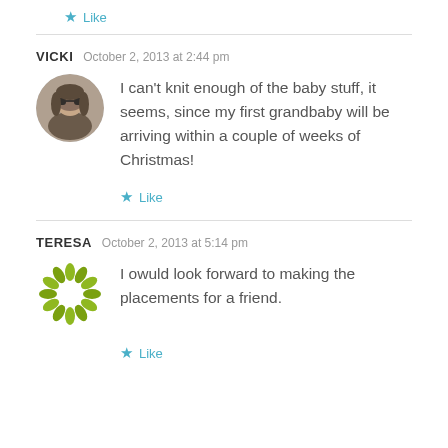★ Like
VICKI   October 2, 2013 at 2:44 pm
I can't knit enough of the baby stuff, it seems, since my first grandbaby will be arriving within a couple of weeks of Christmas!
★ Like
TERESA   October 2, 2013 at 5:14 pm
I owuld look forward to making the placements for a friend.
★ Like